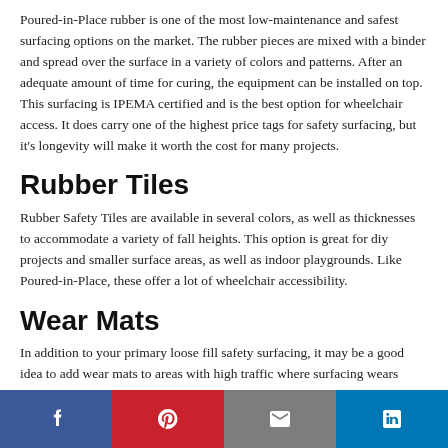Poured-in-Place rubber is one of the most low-maintenance and safest surfacing options on the market. The rubber pieces are mixed with a binder and spread over the surface in a variety of colors and patterns. After an adequate amount of time for curing, the equipment can be installed on top. This surfacing is IPEMA certified and is the best option for wheelchair access. It does carry one of the highest price tags for safety surfacing, but it's longevity will make it worth the cost for many projects.
Rubber Tiles
Rubber Safety Tiles are available in several colors, as well as thicknesses to accommodate a variety of fall heights. This option is great for diy projects and smaller surface areas, as well as indoor playgrounds. Like Poured-in-Place, these offer a lot of wheelchair accessibility.
Wear Mats
In addition to your primary loose fill safety surfacing, it may be a good idea to add wear mats to areas with high traffic where surfacing wears
[Figure (infographic): Social media sharing bar with four buttons: Facebook (blue), Pinterest (red), Email (gray), LinkedIn (blue)]